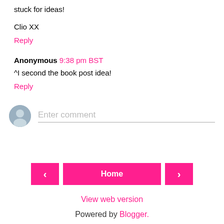stuck for ideas!
Clio XX
Reply
Anonymous 9:38 pm BST
^I second the book post idea!
Reply
Enter comment
Home
View web version
Powered by Blogger.